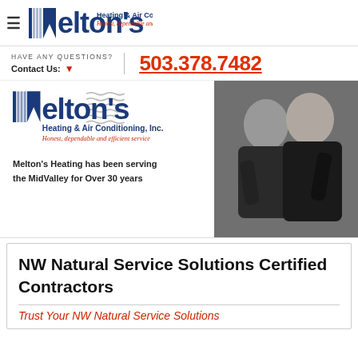Melton's Heating & Air Conditioning, Inc. — Honest, dependable and efficient service
HAVE ANY QUESTIONS?
Contact Us: ▼
503.378.7482
[Figure (photo): Melton's Heating & Air Conditioning Inc. banner with logo, wave graphic, tagline 'Honest, dependable and efficient service', text 'Melton's Heating has been serving the MidValley for Over 30 years', and photo of two men in dark jackets]
NW Natural Service Solutions Certified Contractors
Trust Your NW Natural Service Solutions